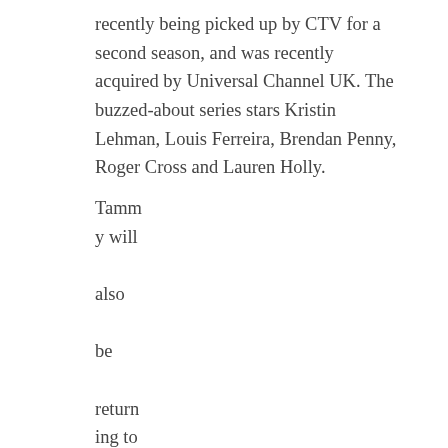recently being picked up by CTV for a second season, and was recently acquired by Universal Channel UK. The buzzed-about series stars Kristin Lehman, Louis Ferreira, Brendan Penny, Roger Cross and Lauren Holly.
Tammy will also be returning to her hilarious recurring role for the fourth and last season in the multiple Canadian Screen Award winning, television series "Less Than Kind". The final season of this fan favorite show premieres on June 2nd, 2013 in a 2-
[Figure (photo): A scene showing two women in what appears to be a store with shelves of products in the background. One woman has blonde hair and is wearing a dark purple jacket, the other has dark hair and is wearing a purple coat.]